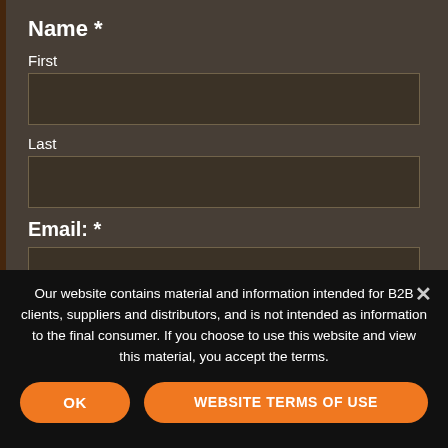Name *
First
Last
Email: *
Our website contains material and information intended for B2B clients, suppliers and distributors, and is not intended as information to the final consumer. If you choose to use this website and view this material, you accept the terms.